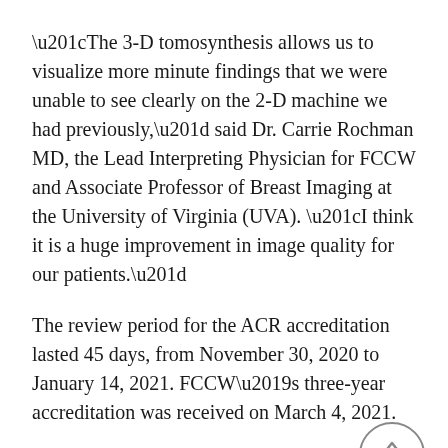“The 3-D tomosynthesis allows us to visualize more minute findings that we were unable to see clearly on the 2-D machine we had previously,” said Dr. Carrie Rochman MD, the Lead Interpreting Physician for FCCW and Associate Professor of Breast Imaging at the University of Virginia (UVA). “I think it is a huge improvement in image quality for our patients.”
The review period for the ACR accreditation lasted 45 days, from November 30, 2020 to January 14, 2021. FCCW’s three-year accreditation was received on March 4, 2021.
“We want the women at our facility to have the highest quality care available and the best clinical outcomes,” said Rebecca Peters R.T. (R)(M)(ARRT), Fluvanna’s mammography technologist, who